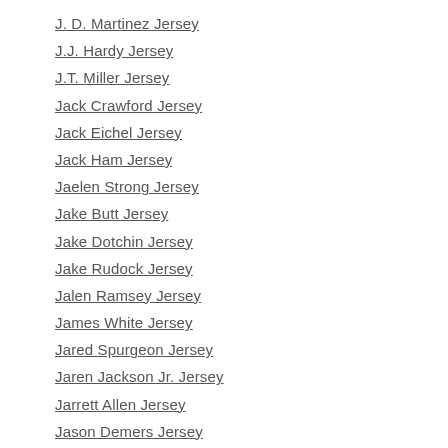J. D. Martinez Jersey
J.J. Hardy Jersey
J.T. Miller Jersey
Jack Crawford Jersey
Jack Eichel Jersey
Jack Ham Jersey
Jaelen Strong Jersey
Jake Butt Jersey
Jake Dotchin Jersey
Jake Rudock Jersey
Jalen Ramsey Jersey
James White Jersey
Jared Spurgeon Jersey
Jaren Jackson Jr. Jersey
Jarrett Allen Jersey
Jason Demers Jersey
Jeff Bagwell Jersey
Jeremy Lamb Jersey
Jeremy Lauzon Jersey